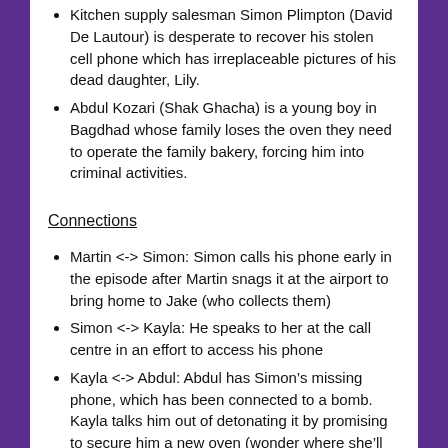Kitchen supply salesman Simon Plimpton (David De Lautour) is desperate to recover his stolen cell phone which has irreplaceable pictures of his dead daughter, Lily.
Abdul Kozari (Shak Ghacha) is a young boy in Bagdhad whose family loses the oven they need to operate the family bakery, forcing him into criminal activities.
Connections
Martin <-> Simon: Simon calls his phone early in the episode after Martin snags it at the airport to bring home to Jake (who collects them)
Simon <-> Kayla: He speaks to her at the call centre in an effort to access his phone
Kayla <-> Abdul: Abdul has Simon’s missing phone, which has been connected to a bomb. Kayla talks him out of detonating it by promising to secure him a new oven (wonder where she’ll get that from? Le sigh)